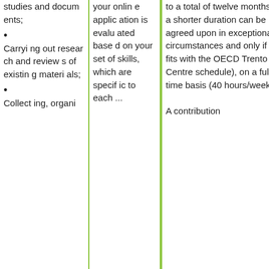studies and documents;
Carrying out research and reviews of existing materials;
Collecting, organi...
your online application is evaluated based on your set of skills, which are specific to each ...
to a total of twelve months; a shorter duration can be agreed upon in exceptional circumstances and only if fits with the OECD Trento Centre schedule), on a full-time basis (40 hours/week). A contribution ...